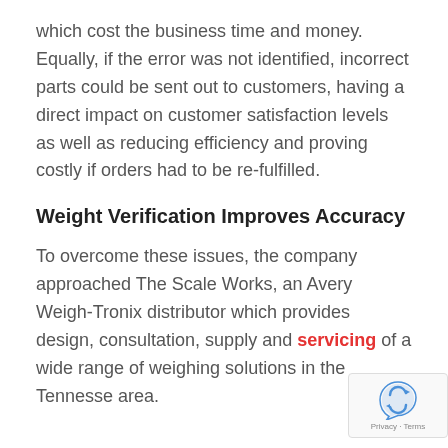which cost the business time and money. Equally, if the error was not identified, incorrect parts could be sent out to customers, having a direct impact on customer satisfaction levels as well as reducing efficiency and proving costly if orders had to be re-fulfilled.
Weight Verification Improves Accuracy
To overcome these issues, the company approached The Scale Works, an Avery Weigh-Tronix distributor which provides design, consultation, supply and servicing of a wide range of weighing solutions in the Tennessee area.